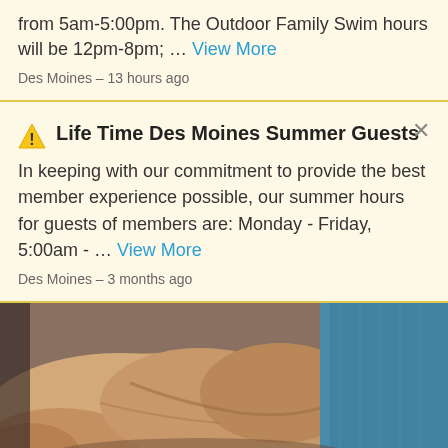from 5am-5:00pm. The Outdoor Family Swim hours will be 12pm-8pm; ... View More
Des Moines – 13 hours ago
Life Time Des Moines Summer Guests
In keeping with our commitment to provide the best member experience possible, our summer hours for guests of members are: Monday - Friday, 5:00am - ... View More
Des Moines – 3 months ago
[Figure (photo): Close-up photo of a person's muscular arm and hand, with another person in a blue textured shirt visible in the background, in what appears to be a gym or fitness setting.]